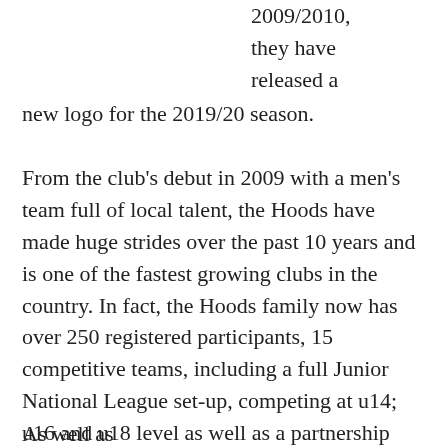2009/2010, they have released a new logo for the 2019/20 season.
From the club's debut in 2009 with a men's team full of local talent, the Hoods have made huge strides over the past 10 years and is one of the fastest growing clubs in the country. In fact, the Hoods family now has over 250 registered participants, 15 competitive teams, including a full Junior National League set-up, competing at u14; u16 and u18 level as well as a partnership with Nottingham Trent University in BUCS and National League and their Senior Men team, competing in Division 1.
As well as...